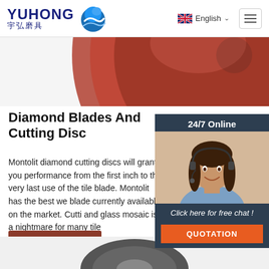YUHONG 宇弘磨具 | English
[Figure (photo): Partial view of a circular diamond cutting disc/blade, red/brown colored, seen from above, cropped at top of page]
Diamond Blades And Cutting Disc
Montolit diamond cutting discs will grant you performance from the first inch to the very last use of the tile blade. Montolit has the best we blade currently available on the market. Cutti and glass mosaic is a nightmare for many tile
[Figure (photo): 24/7 Online chat widget with a female customer service agent wearing a headset, smiling. Contains 'Click here for free chat!' text and an orange QUOTATION button.]
Get Price
[Figure (other): TOP navigation button with orange/red dotted arc above the word TOP in orange text]
[Figure (photo): Bottom portion of a dark grey diamond cutting disc partially visible at bottom of page]